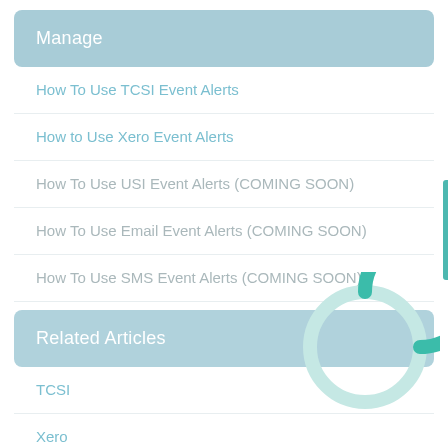Manage
How To Use TCSI Event Alerts
How to Use Xero Event Alerts
How To Use USI Event Alerts (COMING SOON)
How To Use Email Event Alerts (COMING SOON)
How To Use SMS Event Alerts (COMING SOON)
Related Articles
[Figure (other): Loading spinner donut animation overlay — teal arc on light ring]
TCSI
Xero
USI
Email Messaging